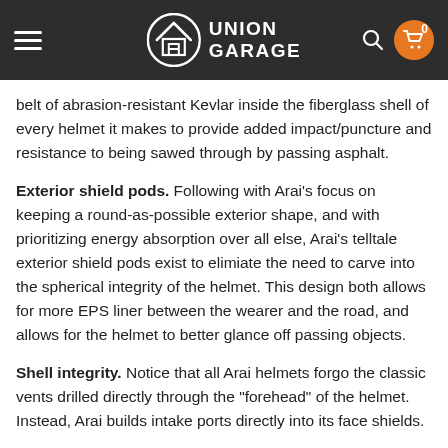UNION GARAGE
belt of abrasion-resistant Kevlar inside the fiberglass shell of every helmet it makes to provide added impact/puncture and resistance to being sawed through by passing asphalt.
Exterior shield pods. Following with Arai's focus on keeping a round-as-possible exterior shape, and with prioritizing energy absorption over all else, Arai's telltale exterior shield pods exist to elimiate the need to carve into the spherical integrity of the helmet. This design both allows for more EPS liner between the wearer and the road, and allows for the helmet to better glance off passing objects.
Shell integrity. Notice that all Arai helmets forgo the classic vents drilled directly through the "forehead" of the helmet. Instead, Arai builds intake ports directly into its face shields.